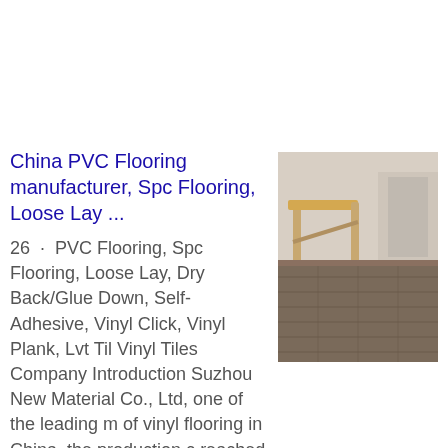China PVC Flooring manufacturer, Spc Flooring, Loose Lay ...
[Figure (photo): Photo of a room interior showing wooden flooring with sawhorse/trestle visible, and vinyl/SPC flooring samples.]
26 · PVC Flooring, Spc Flooring, Loose Lay, Dry Back/Glue Down, Self-Adhesive, Vinyl Click, Vinyl Plank, Lvt Tile, Vinyl Tiles Company Introduction Suzhou New Material Co., Ltd, one of the leading manufacturers of vinyl flooring in China, the production capacity reached 180 X 20"containers every month.
Get price